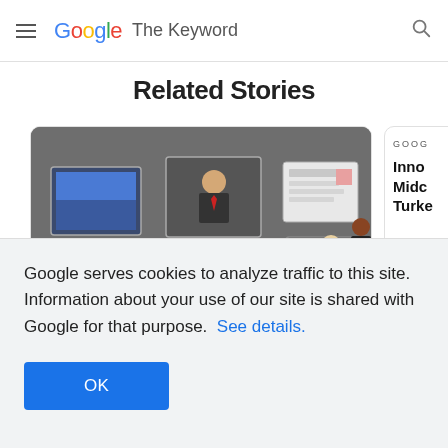Google The Keyword
Related Stories
[Figure (illustration): Newsroom illustration showing people working at a round desk with screens and monitors in a TV studio setting]
NEWS
GOOG
Inno Midc Turke
Google serves cookies to analyze traffic to this site. Information about your use of our site is shared with Google for that purpose.  See details.
OK